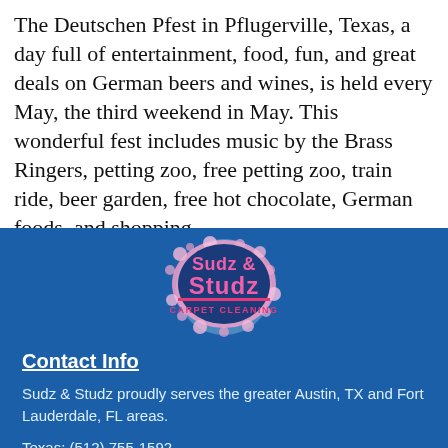The Deutschen Pfest in Pflugerville, Texas, a day full of entertainment, food, fun, and great deals on German beers and wines, is held every May, the third weekend in May. This wonderful fest includes music by the Brass Ringers, petting zoo, free petting zoo, train ride, beer garden, free hot chocolate, German foods, and shopping.
[Figure (logo): Sudz & Studz Carpet Cleaning logo with pink bubble letters on a blue and pink design]
Contact Info
Sudz & Studz proudly serves the greater Austin, TX and Fort Lauderdale, FL areas.
Texas: (512) 755-1592
Florida: (954) 551-0272